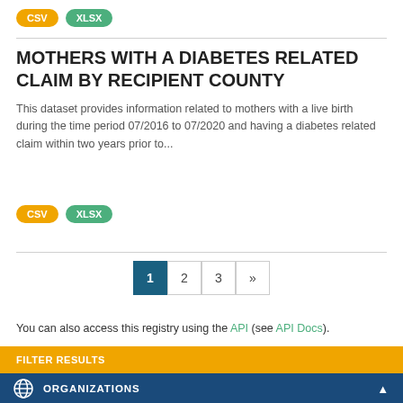[Figure (other): CSV badge (orange pill) and XLSX badge (green pill) at top]
MOTHERS WITH A DIABETES RELATED CLAIM BY RECIPIENT COUNTY
This dataset provides information related to mothers with a live birth during the time period 07/2016 to 07/2020 and having a diabetes related claim within two years prior to...
[Figure (other): CSV badge (orange pill) and XLSX badge (green pill) below description]
[Figure (other): Pagination: page 1 (active, dark teal), 2, 3, »]
You can also access this registry using the API (see API Docs).
FILTER RESULTS
ORGANIZATIONS